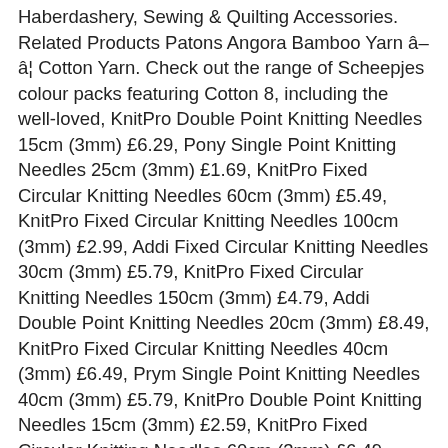Haberdashery, Sewing & Quilting Accessories. Related Products Patons Angora Bamboo Yarn â â¦ Cotton Yarn. Check out the range of Scheepjes colour packs featuring Cotton 8, including the well-loved, KnitPro Double Point Knitting Needles 15cm (3mm) £6.29, Pony Single Point Knitting Needles 25cm (3mm) £1.69, KnitPro Fixed Circular Knitting Needles 60cm (3mm) £5.49, KnitPro Fixed Circular Knitting Needles 100cm (3mm) £2.99, Addi Fixed Circular Knitting Needles 30cm (3mm) £5.79, KnitPro Fixed Circular Knitting Needles 150cm (3mm) £4.79, Addi Double Point Knitting Needles 20cm (3mm) £8.49, KnitPro Fixed Circular Knitting Needles 40cm (3mm) £6.49, Prym Single Point Knitting Needles 40cm (3mm) £5.79, KnitPro Double Point Knitting Needles 15cm (3mm) £2.59, KnitPro Fixed Circular Knitting Needles 60cm (3mm) £6.49, KnitPro Fixed Circular Knitting Needles 60cm (3mm) £5.29, Addi Fixed Circular Knitting Needles 40cm (3mm) £4.79, KnitPro Single Point Knitting Needles 25cm (3mm) £3.29. Shops in United Kingdom. Worsted yarns come in a variety of plies â from one-ply to eight-plies. There seems to be a problem serving the